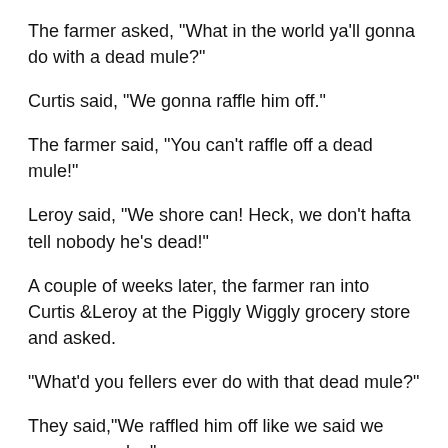The farmer asked, "What in the world ya'll gonna do with a dead mule?"
Curtis said, "We gonna raffle him off."
The farmer said, "You can't raffle off a dead mule!"
Leroy said, "We shore can! Heck, we don't hafta tell nobody he's dead!"
A couple of weeks later, the farmer ran into Curtis &Leroy at the Piggly Wiggly grocery store and asked.
"What'd you fellers ever do with that dead mule?"
They said,"We raffled him off like we said we wuz gonna do.."